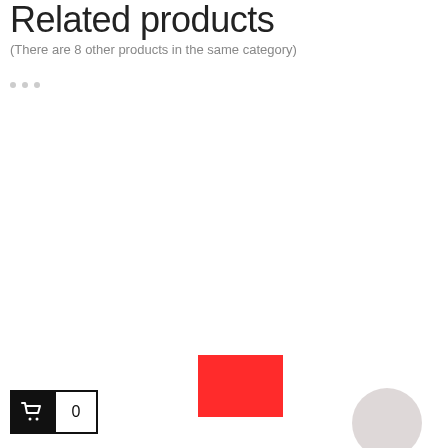Related products
(There are 8 other products in the same category)
[Figure (other): Three small light grey dots in a row, used as a decorative separator or loading indicator]
[Figure (other): A solid red rectangle shape, partially visible, appearing at the bottom center of the page — likely a product image thumbnail]
[Figure (other): A partially visible grey circle at the bottom right corner of the page]
[Figure (other): Shopping cart widget at bottom left: black box with white basket icon, adjacent white box with black border showing count 0]